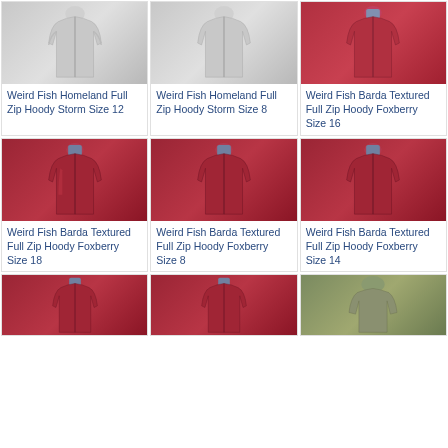[Figure (photo): Weird Fish Homeland Full Zip Hoody Storm Size 12 - gray marl zip-up hoodie]
Weird Fish Homeland Full Zip Hoody Storm Size 12
[Figure (photo): Weird Fish Homeland Full Zip Hoody Storm Size 8 - gray marl zip-up hoodie]
Weird Fish Homeland Full Zip Hoody Storm Size 8
[Figure (photo): Weird Fish Barda Textured Full Zip Hoody Foxberry Size 16 - red zip-up hoodie]
Weird Fish Barda Textured Full Zip Hoody Foxberry Size 16
[Figure (photo): Weird Fish Barda Textured Full Zip Hoody Foxberry Size 18 - red zip-up hoodie]
Weird Fish Barda Textured Full Zip Hoody Foxberry Size 18
[Figure (photo): Weird Fish Barda Textured Full Zip Hoody Foxberry Size 8 - red zip-up hoodie]
Weird Fish Barda Textured Full Zip Hoody Foxberry Size 8
[Figure (photo): Weird Fish Barda Textured Full Zip Hoody Foxberry Size 14 - red zip-up hoodie]
Weird Fish Barda Textured Full Zip Hoody Foxberry Size 14
[Figure (photo): Weird Fish Barda Textured Full Zip Hoody Foxberry - red zip-up hoodie partial]
[Figure (photo): Weird Fish Barda Textured Full Zip Hoody Foxberry - red zip-up hoodie partial]
[Figure (photo): Weird Fish product - olive/khaki jacket partial]